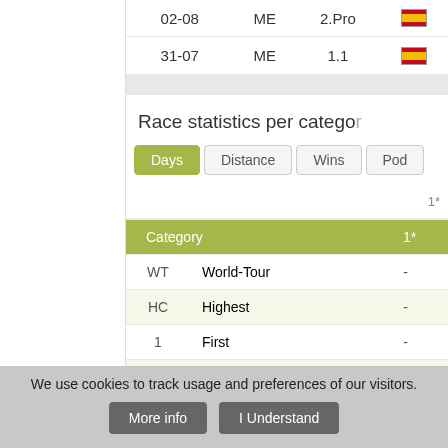| Date | Type | Category | Flag |
| --- | --- | --- | --- |
| 02-08 | ME | 2.Pro | ES |
| 31-07 | ME | 1.1 | ES |
Race statistics per category
| Days | Distance | Wins | Podiums | Category | 1* |
| --- | --- | --- | --- | --- | --- |
| WT | World-Tour | - |
| HC | Highest | - |
| 1 | First | - |
| 2 | Second | - |
| - | Other | 47 |
|  |  | 47 |
We use cookies to track usage and preferences of our visitors.
More info
I Understand